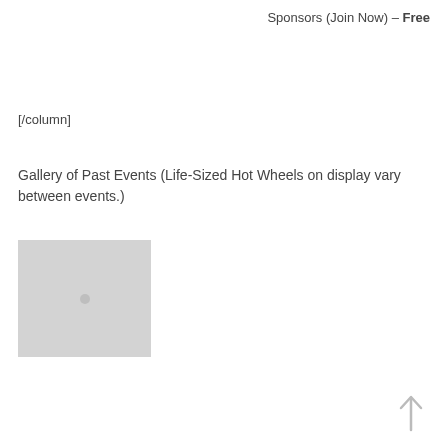Sponsors (Join Now) – Free
[/column]
Gallery of Past Events (Life-Sized Hot Wheels on display vary between events.)
[Figure (photo): Gray placeholder image square]
[Figure (illustration): Up arrow icon in bottom right corner]